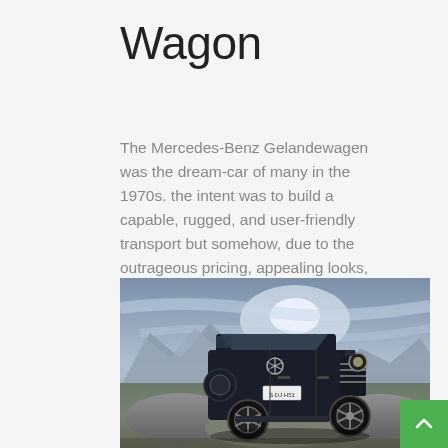Wagon
The Mercedes-Benz Gelandewagen was the dream-car of many in the 1970s. the intent was to build a capable, rugged, and user-friendly transport but somehow, due to the outrageous pricing, appealing looks, and limited production, it soon turned out to be a status symbol.
[Figure (photo): A dark blue Mercedes-Benz G-Wagen (Gelandewagen) SUV photographed on rocky terrain with mountains and dramatic cloudy sky in the background.]